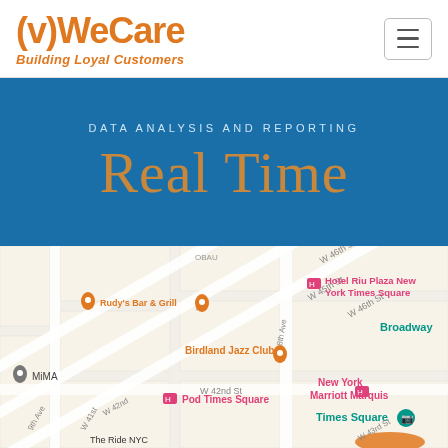[Figure (logo): (v)WeCare logo with tagline 'Building Loyal Customers']
DATA ANALYSIS AND REPORTING
Real Time
[Figure (map): Google Maps view of Times Square area in New York City, showing streets W 41st to W 46th, 8th and 9th Avenues, with location markers for Rudy's Bar & Grill, Birdland Jazz Club, MiMA, Pod Times Square, Hotel Riu Plaza New York Times Square, Broadway, New York Marriott Marquis, Times Square]